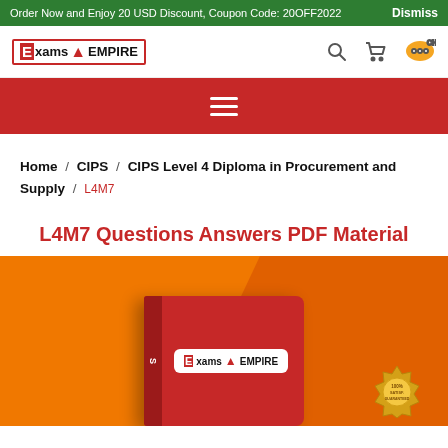Order Now and Enjoy 20 USD Discount, Coupon Code: 20OFF2022   Dismiss
[Figure (logo): ExamsEmpire logo with red E and tower icon]
Home / CIPS / CIPS Level 4 Diploma in Procurement and Supply / L4M7
L4M7 Questions Answers PDF Material
[Figure (photo): Red book with ExamsEmpire logo on orange background with gold satisfaction seal]